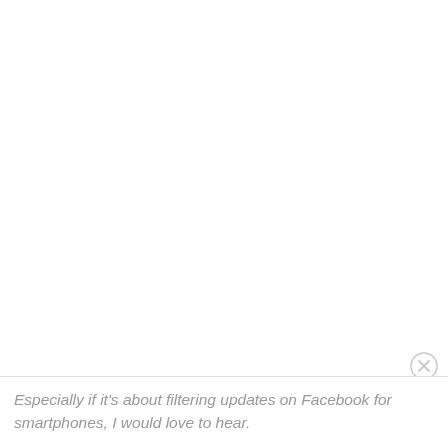[Figure (other): Close button (X in circle) in light gray, positioned at bottom right above the text bar]
Especially if it's about filtering updates on Facebook for smartphones, I would love to hear.